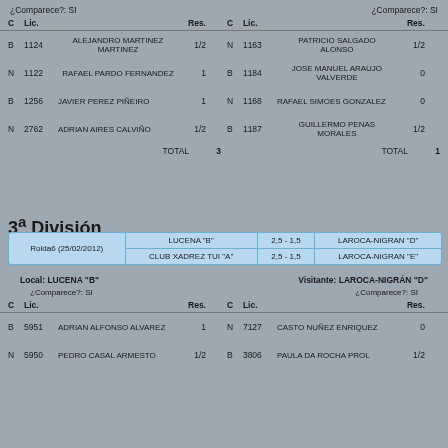¿Comparece?: SI
¿Comparece?: SI
| C | Lic. |  | Res. | C | Lic. |  | Res. |
| --- | --- | --- | --- | --- | --- | --- | --- |
| B | 1124 | ALEJANDRO MARTINEZ MARTINEZ | 1/2 | N | 1163 | PATRICIO SALGADO ALONSO | 1/2 |
| N | 1122 | RAFAEL PARDO FERNANDEZ | 1 | B | 1184 | JOSE MANUEL ARAUJO VALVERDE | 0 |
| B | 1256 | JAVIER PEREZ PIÑEIRO | 1 | N | 1168 | RAFAEL SIMOES GONZALEZ | 0 |
| N | 2762 | ADRIAN AIRES CALVIÑO | 1/2 | B | 1187 | GUILLERMO PENAS MORALES | 1/2 |
TOTAL 3
TOTAL 1
3ª División
| Rolda6 (25/02/2012) | LUCENA "B" / CLUB XADREZ TUI "A" | 2,5 - 1,5 / 2,5 - 1,5 | LAROCA-NIGRAN "D" / LAROCA-NIGRAN "E" |
| --- | --- | --- | --- |
Local: LUCENA "B"
Visitante: LAROCA-NIGRÁN "D"
¿Comparece?: SI
¿Comparece?: SI
| C | Lic. |  | Res. | C | Lic. |  | Res. |
| --- | --- | --- | --- | --- | --- | --- | --- |
| B | 5951 | ADRIAN ALFONSO ALVAREZ | 1 | N | 7127 | CASTO NUÑEZ ENRIQUEZ | 0 |
| N | 5950 | PEDRO CASAL ARMESTO | 1/2 | B | 3806 | PAULA DA ROCHA PROL | 1/2 |